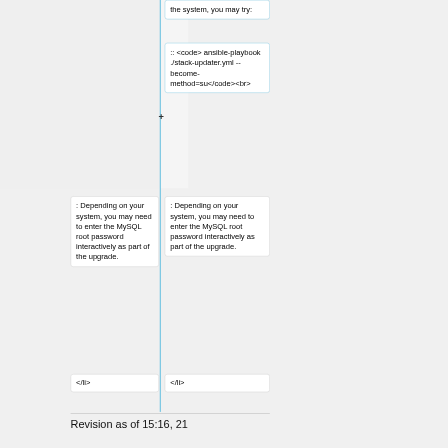the system, you may try:
:: <code> ansible-playbook ./stack-updater.yml --become-method=su</code><br>
: Depending on your system, you may need to enter the MySQL root password interactively as part of the upgrade.
: Depending on your system, you may need to enter the MySQL root password interactively as part of the upgrade.
</li>
</li>
Revision as of 15:16, 21